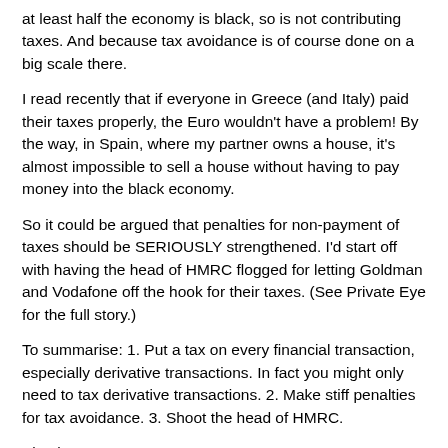at least half the economy is black, so is not contributing taxes. And because tax avoidance is of course done on a big scale there.
I read recently that if everyone in Greece (and Italy) paid their taxes properly, the Euro wouldn't have a problem! By the way, in Spain, where my partner owns a house, it's almost impossible to sell a house without having to pay money into the black economy.
So it could be argued that penalties for non-payment of taxes should be SERIOUSLY strengthened. I'd start off with having the head of HMRC flogged for letting Goldman and Vodafone off the hook for their taxes. (See Private Eye for the full story.)
To summarise: 1. Put a tax on every financial transaction, especially derivative transactions. In fact you might only need to tax derivative transactions. 2. Make stiff penalties for tax avoidance. 3. Shoot the head of HMRC.
Simples!